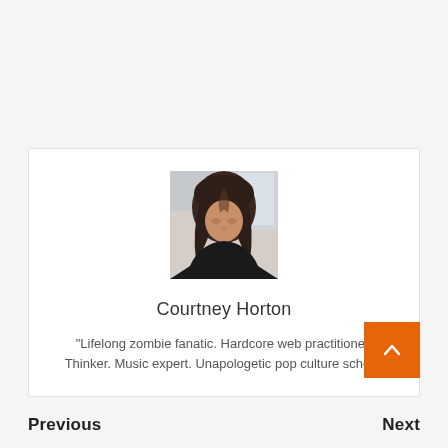[Figure (photo): Portrait photo of a young woman with long dark hair looking downward, wearing a dark top, with a bright window background.]
Courtney Horton
"Lifelong zombie fanatic. Hardcore web practitioner. Thinker. Music expert. Unapologetic pop culture scholar."
Previous
Next